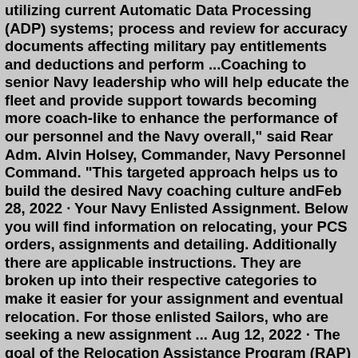utilizing current Automatic Data Processing (ADP) systems; process and review for accuracy documents affecting military pay entitlements and deductions and perform ...Coaching to senior Navy leadership who will help educate the fleet and provide support towards becoming more coach-like to enhance the performance of our personnel and the Navy overall," said Rear Adm. Alvin Holsey, Commander, Navy Personnel Command. "This targeted approach helps us to build the desired Navy coaching culture andFeb 28, 2022 · Your Navy Enlisted Assignment. Below you will find information on relocating, your PCS orders, assignments and detailing. Additionally there are applicable instructions. They are broken up into their respective categories to make it easier for your assignment and eventual relocation. For those enlisted Sailors, who are seeking a new assignment ... Aug 12, 2022 · The goal of the Relocation Assistance Program (RAP) is to ease the personal and family stressors military families experience associated with a Permanent Change of Station (PCS) by providing